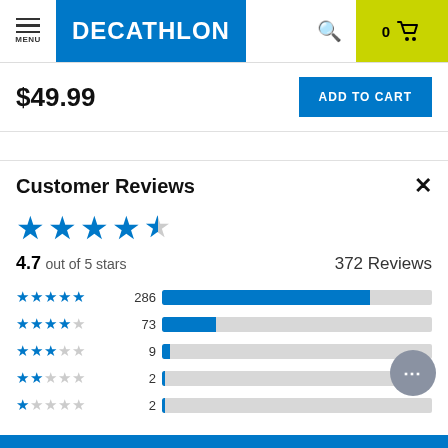[Figure (screenshot): Decathlon website header with menu button, Decathlon logo in blue, search icon, and cart icon with 0 items on yellow-green background]
$49.99
ADD TO CART
Customer Reviews
[Figure (infographic): Star rating display: 4.7 out of 5 stars (large blue stars), 372 Reviews. Bar chart breakdown: 5 stars 286, 4 stars 73, 3 stars 9, 2 stars 2, 1 star 2]
4.7 out of 5 stars
372 Reviews